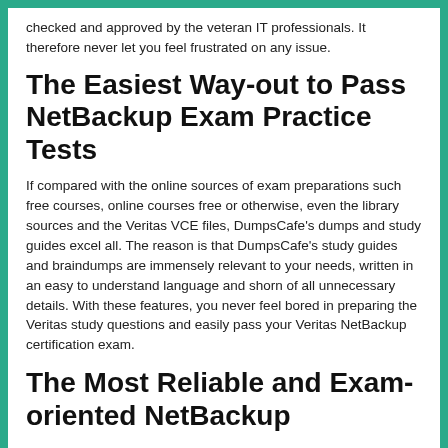checked and approved by the veteran IT professionals. It therefore never let you feel frustrated on any issue.
The Easiest Way-out to Pass NetBackup Exam Practice Tests
If compared with the online sources of exam preparations such free courses, online courses free or otherwise, even the library sources and the Veritas VCE files, DumpsCafe's dumps and study guides excel all. The reason is that DumpsCafe's study guides and braindumps are immensely relevant to your needs, written in an easy to understand language and shorn of all unnecessary details. With these features, you never feel bored in preparing the Veritas study questions and easily pass your Veritas NetBackup certification exam.
The Most Reliable and Exam-oriented NetBackup